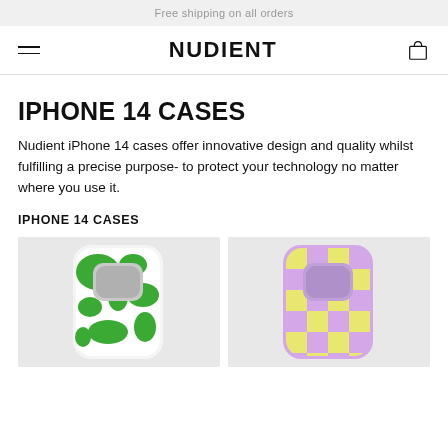Free shipping on all orders
NUDIENT
IPHONE 14 CASES
Nudient iPhone 14 cases offer innovative design and quality whilst fulfilling a precise purpose- to protect your technology no matter where you use it.
IPHONE 14 CASES
[Figure (photo): Green cow-print pattern iPhone 14 case on gray background]
[Figure (photo): Yellow and purple checkerboard pattern iPhone 14 case on gray background]